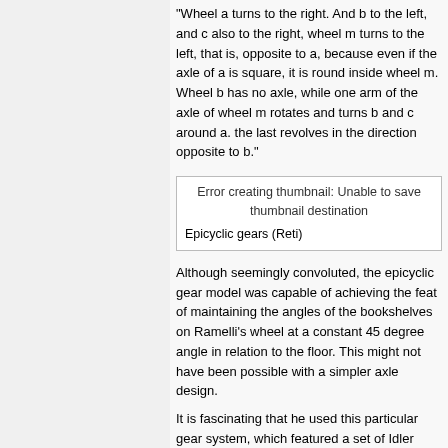“Wheel a turns to the right. And b to the left, and c also to the right, wheel m turns to the left, that is, opposite to a, because even if the axle of a is square, it is round inside wheel m. Wheel b has no axle, while one arm of the axle of wheel m rotates and turns b and c around a. the last revolves in the direction opposite to b.”
[Figure (other): Error creating thumbnail: Unable to save thumbnail destination. Caption: Epicyclic gears (Reti)]
Epicyclic gears (Reti)
Although seemingly convoluted, the epicyclic gear model was capable of achieving the feat of maintaining the angles of the bookshelves on Ramelli’s wheel at a constant 45 degree angle in relation to the floor. This might not have been possible with a simpler axle design.
It is fascinating that he used this particular gear system, which featured a set of Idler gears that were needed to reverse the rotation of the outer set of gears. (Hall 396) This particular particular type of gearing had existed in ancient